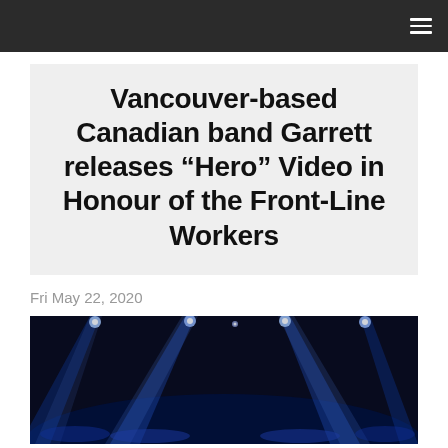Vancouver-based Canadian band Garrett releases “Hero” Video in Honour of the Front-Line Workers
Fri May 22, 2020
[Figure (photo): Concert stage with blue spotlights shining down from above against a dark background]